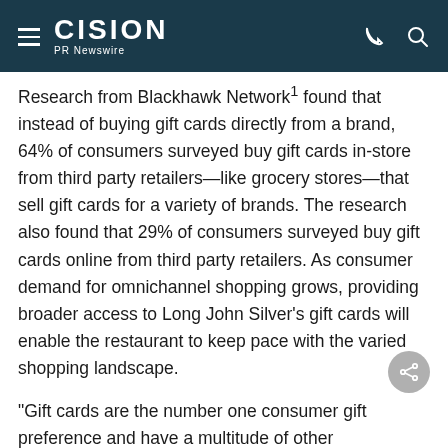CISION PR Newswire
Research from Blackhawk Network1 found that instead of buying gift cards directly from a brand, 64% of consumers surveyed buy gift cards in-store from third party retailers—like grocery stores—that sell gift cards for a variety of brands. The research also found that 29% of consumers surveyed buy gift cards online from third party retailers. As consumer demand for omnichannel shopping grows, providing broader access to Long John Silver's gift cards will enable the restaurant to keep pace with the varied shopping landscape.
"Gift cards are the number one consumer gift preference and have a multitude of other